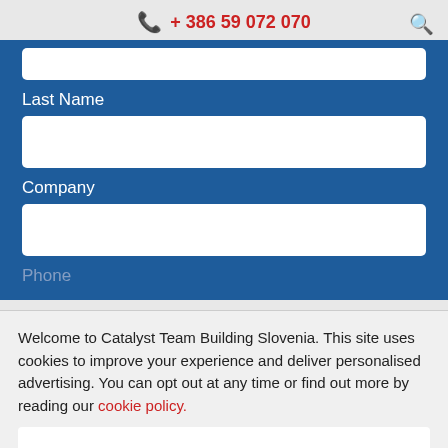+ 386 59 072 070
Last Name
Company
Phone
Welcome to Catalyst Team Building Slovenia. This site uses cookies to improve your experience and deliver personalised advertising. You can opt out at any time or find out more by reading our cookie policy.
I Understand
Enquiry in regards to Brain Amongst the Movie